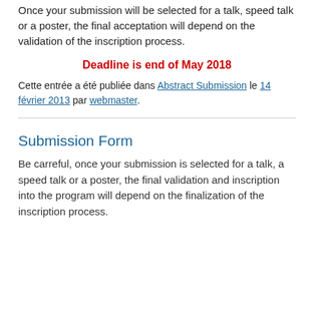Once your submission will be selected for a talk, speed talk or a poster, the final acceptation will depend on the validation of the inscription process.
Deadline is end of May 2018
Cette entrée a été publiée dans Abstract Submission le 14 février 2013 par webmaster.
Submission Form
Be carreful, once your submission is selected for a talk, a speed talk or a poster, the final validation and inscription into the program will depend on the finalization of the inscription process.